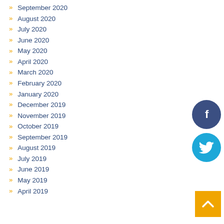September 2020
August 2020
July 2020
June 2020
May 2020
April 2020
March 2020
February 2020
January 2020
December 2019
November 2019
October 2019
September 2019
August 2019
July 2019
June 2019
May 2019
April 2019
[Figure (illustration): Facebook social media icon - dark blue circle with white F logo]
[Figure (illustration): Twitter social media icon - cyan circle with white bird logo]
[Figure (illustration): Back to top button - orange square with white chevron up arrow]